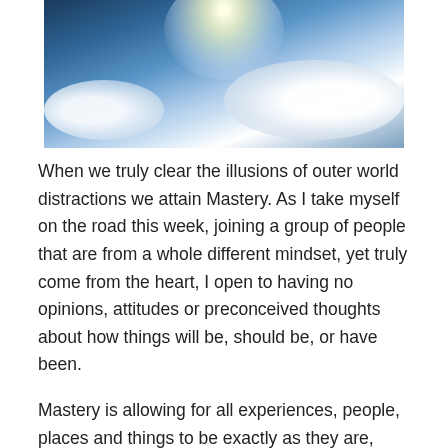[Figure (photo): Sky photo showing blue sky with white clouds and bright sun glare near the top center]
When we truly clear the illusions of outer world distractions we attain Mastery. As I take myself on the road this week, joining a group of people that are from a whole different mindset, yet truly come from the heart, I open to having no opinions, attitudes or preconceived thoughts about how things will be, should be, or have been.
Mastery is allowing for all experiences, people, places and things to be exactly as they are, without entering into the chaos that may seem real, we have an opportunity to have inner peace and stillness as we “travel” through  the moment. Taking action becomes alignment with our highest possibility, where we align with this high vibration.
Remembering our highest truths illuminates light, and we